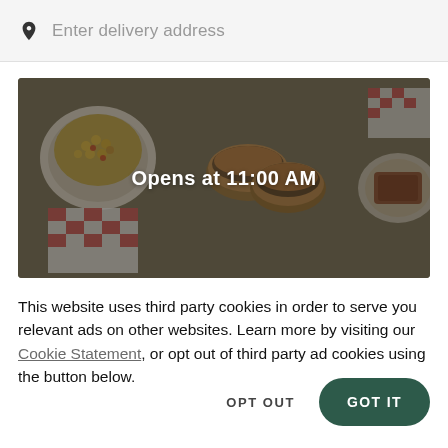Enter delivery address
[Figure (photo): Overhead food photo showing burgers, a bowl of corn/bean salad, and red-checkered paper, with dark overlay and text 'Opens at 11:00 AM']
This website uses third party cookies in order to serve you relevant ads on other websites. Learn more by visiting our Cookie Statement, or opt out of third party ad cookies using the button below.
OPT OUT
GOT IT